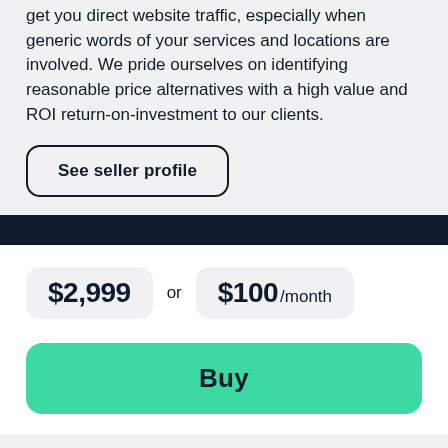get you direct website traffic, especially when generic words of your services and locations are involved. We pride ourselves on identifying reasonable price alternatives with a high value and ROI return-on-investment to our clients.
See seller profile
$2,999 or $100 /month
Buy